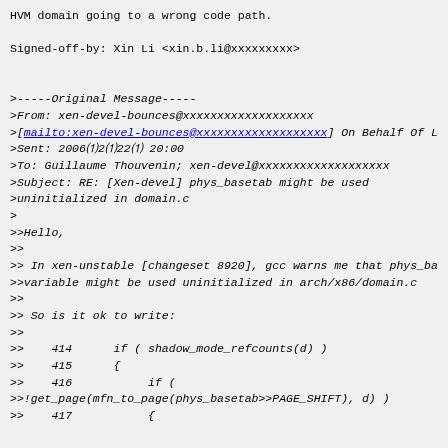HVM domain going to a wrong code path.
Signed-off-by: Xin Li <xin.b.li@xxxxxxxxx>
>-----Original Message-----
>From: xen-devel-bounces@xxxxxxxxxxxxxxxxxxx
>[mailto:xen-devel-bounces@xxxxxxxxxxxxxxxxxxx] On Behalf Of L
>Sent: 2006␲2␲22␲ 20:00
>To: Guillaume Thouvenin; xen-devel@xxxxxxxxxxxxxxxxxxx
>Subject: RE: [Xen-devel] phys_basetab might be used
>uninitialized in domain.c
>
>>Hello,
>>
>> In xen-unstable [changeset 8920], gcc warns me that phys_ba
>>>variable might be used uninitialized in arch/x86/domain.c
>>
>>> So is it ok to write:
>>
>>    414      if ( shadow_mode_refcounts(d) )
>>    415      {
>>    416           if (
>>>!get_page(mfn_to_page(phys_basetab>>PAGE_SHIFT), d) )
>>    417           {